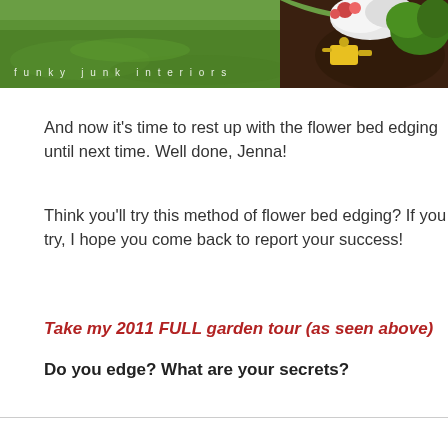[Figure (photo): Garden photo showing green lawn with a curved flower bed containing colorful flowering plants, mulch, and a yellow watering can. Watermark text reads 'funky junk interiors'.]
And now it's time to rest up with the flower bed edging until next time. Well done, Jenna!
Think you'll try this method of flower bed edging? If you try, I hope you come back to report your success!
Take my 2011 FULL garden tour (as seen above)
Do you edge? What are your secrets?